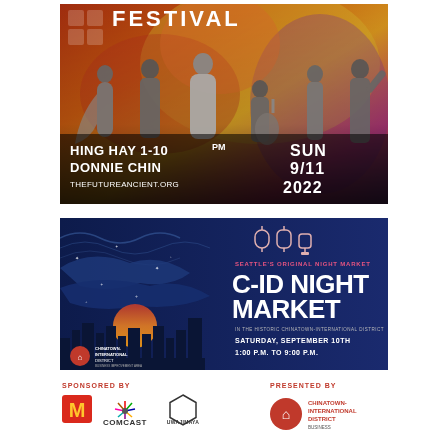[Figure (illustration): Festival advertisement with performers in black and white on colorful background. Shows 'FESTIVAL' title with small logo icons, 'HING HAY 1-10PM DONNIE CHIN', 'THEFUTUREANCIENT.ORG', date 'SUN 9/11 2022']
[Figure (illustration): C-ID Night Market advertisement on dark navy background. Seattle's Original Night Market. C-ID NIGHT MARKET. In the Historic Chinatown-International District. Saturday, September 10th, 1:00 P.M. to 9:00 P.M. Chinatown-International District logo.]
SPONSORED BY
[Figure (logo): McDonald's logo]
[Figure (logo): Comcast logo with peacock symbol]
[Figure (logo): Uwajimaya logo with hexagon]
PRESENTED BY
[Figure (logo): Chinatown-International District Business Improvement Area logo]